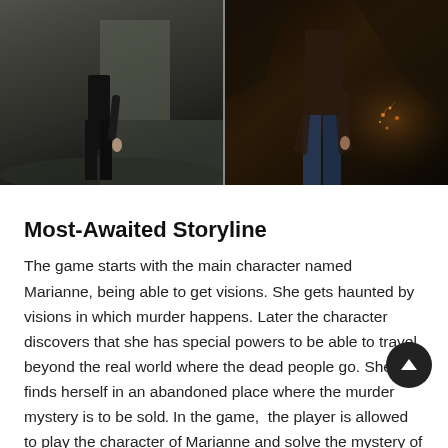[Figure (photo): Two side-by-side dark cinematic images showing a figure standing in an abandoned/dark setting. Left image: person in black standing on rubble with grey tones. Right image: person in dark coat and blue jeans in a cave/dark area with sparks or lights visible.]
Most-Awaited Storyline
The game starts with the main character named Marianne, being able to get visions. She gets haunted by visions in which murder happens. Later the character discovers that she has special powers to be able to travel beyond the real world where the dead people go. She finds herself in an abandoned place where the murder mystery is to be sol... In the game,  the player is allowed to play the character o... Marianne and solve the mystery of the tragic incident. As